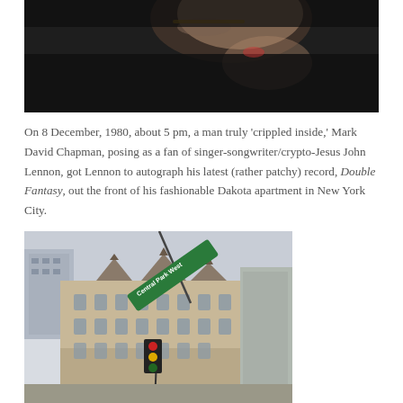[Figure (photo): Close-up photograph of a person with glasses looking downward, wearing a dark jacket, cropped at the top of the page.]
On 8 December, 1980, about 5 pm, a man truly 'crippled inside,' Mark David Chapman, posing as a fan of singer-songwriter/crypto-Jesus John Lennon, got Lennon to autograph his latest (rather patchy) record, Double Fantasy, out the front of his fashionable Dakota apartment in New York City.
[Figure (photo): Photograph of the Dakota building in New York City, a large ornate Victorian-Gothic apartment building at the corner of Central Park West, with a green street sign reading 'Central Park West' and yellow traffic lights visible in the foreground.]